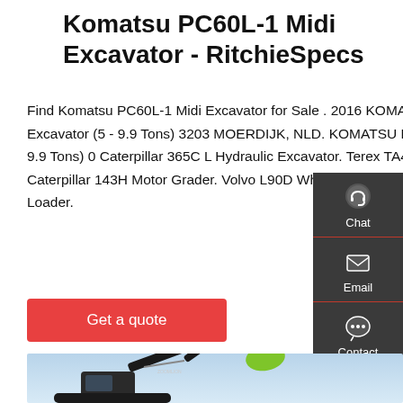Komatsu PC60L-1 Midi Excavator - RitchieSpecs
Find Komatsu PC60L-1 Midi Excavator for Sale . 2016 KOMATSU PC80MR-3 Midi Excavator (5 - 9.9 Tons) 3203 MOERDIJK, NLD. KOMATSU PC56-7 Midi Excavator (5 - 9.9 Tons) 0 Caterpillar 365C L Hydraulic Excavator. Terex TA40 Articulated Dump Truck. Caterpillar 143H Motor Grader. Volvo L90D Wheel Loader. Hyundai HL780-3A Wheel Loader.
[Figure (other): Red 'Get a quote' button]
[Figure (other): Dark sidebar panel with Chat, Email, and Contact icons]
[Figure (photo): Photo of a Zoomlion excavator with green arm and black body against a blue sky background]